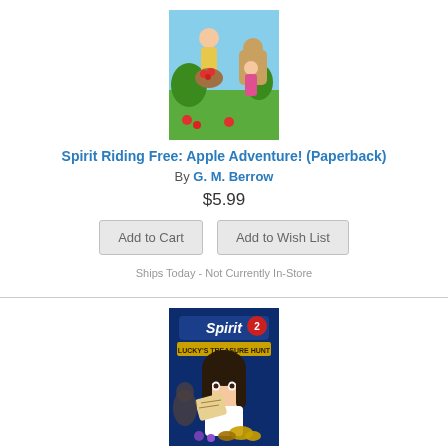[Figure (illustration): Book cover for Spirit Riding Free: Apple Adventure! showing an animated girl holding a basket of apples with horses and friends in a green outdoor setting]
Spirit Riding Free: Apple Adventure! (Paperback)
By G. M. Berrow
$5.99
Add to Cart
Add to Wish List
Ships Today - Not Currently In-Store
[Figure (illustration): Book cover for Spirit: Lucky's Treasure Hunt (Passport to Reading Level 2) showing an animated dark-haired girl holding a map with a horse in background on a blue cover]
Spirit: Lucky's Treasure Hunt (Passport to Reading Level 2)